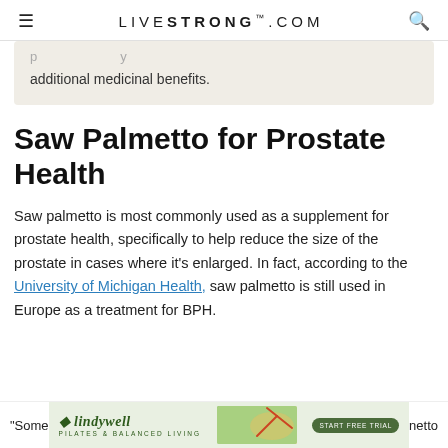LIVESTRONG.COM
additional medicinal benefits.
Saw Palmetto for Prostate Health
Saw palmetto is most commonly used as a supplement for prostate health, specifically to help reduce the size of the prostate in cases where it's enlarged. In fact, according to the University of Michigan Health, saw palmetto is still used in Europe as a treatment for BPH.
[Figure (other): Advertisement banner for Lindywell Pilates & Balanced Living with a person doing a yoga/pilates pose outdoors, green background, and a 'Start Free Trial' call-to-action button.]